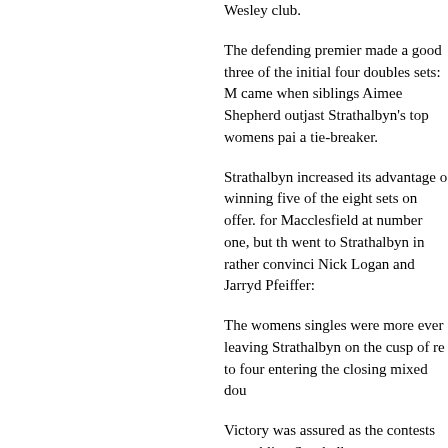Wesley club.
The defending premier made a good three of the initial four doubles sets: M came when siblings Aimee Shepherd outjast Strathalbyn's top womens pai a tie-breaker.
Strathalbyn increased its advantage o winning five of the eight sets on offer. for Macclesfield at number one, but th went to Strathalbyn in rather convinci Nick Logan and Jarryd Pfeiffer:
The womens singles were more ever leaving Strathalbyn on the cusp of re to four entering the closing mixed dou
Victory was assured as the contests w enabling Strathalbyn to cap a season premierships.
GRAND FINAL SCORES
Strathalbyn 10-93 d Macclesfield 6-57